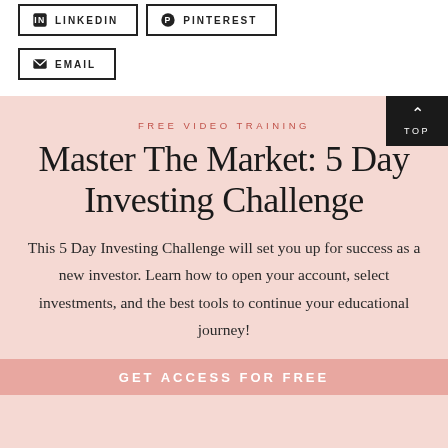[Figure (other): LinkedIn and Pinterest social share buttons with icons and uppercase labels]
[Figure (other): Email share button with envelope icon and uppercase label]
FREE VIDEO TRAINING
Master The Market: 5 Day Investing Challenge
This 5 Day Investing Challenge will set you up for success as a new investor. Learn how to open your account, select investments, and the best tools to continue your educational journey!
GET ACCESS FOR FREE